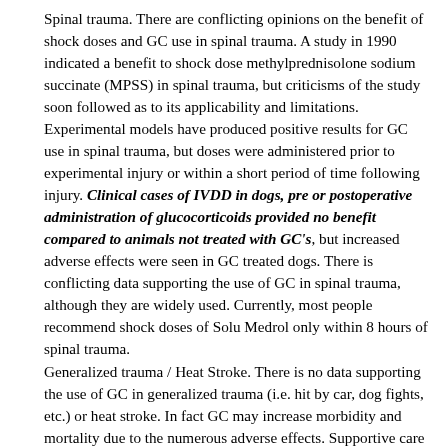Spinal trauma. There are conflicting opinions on the benefit of shock doses and GC use in spinal trauma. A study in 1990 indicated a benefit to shock dose methylprednisolone sodium succinate (MPSS) in spinal trauma, but criticisms of the study soon followed as to its applicability and limitations. Experimental models have produced positive results for GC use in spinal trauma, but doses were administered prior to experimental injury or within a short period of time following injury. Clinical cases of IVDD in dogs, pre or postoperative administration of glucocorticoids provided no benefit compared to animals not treated with GC's, but increased adverse effects were seen in GC treated dogs. There is conflicting data supporting the use of GC in spinal trauma, although they are widely used. Currently, most people recommend shock doses of Solu Medrol only within 8 hours of spinal trauma. Generalized trauma / Heat Stroke. There is no data supporting the use of GC in generalized trauma (i.e. hit by car, dog fights, etc.) or heat stroke. In fact GC may increase morbidity and mortality due to the numerous adverse effects. Supportive care such as crystalloids and colloids are important with minimizing blood...